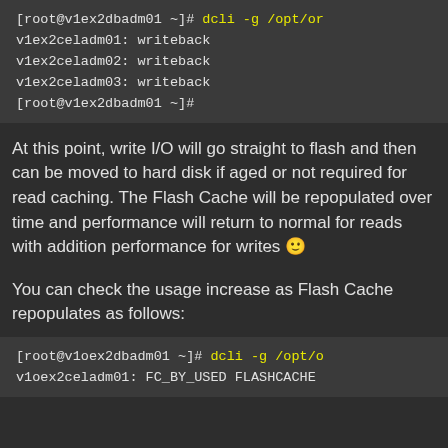[Figure (screenshot): Terminal code block showing writeback output and root prompt]
At this point, write I/O will go straight to flash and then can be moved to hard disk if aged or not required for read caching.  The Flash Cache will be repopulated over time and performance will return to normal for reads with addition performance for writes 🙂
You can check the usage increase as Flash Cache repopulates as follows:
[Figure (screenshot): Terminal code block showing dcli -g /opt/o command and FC_BY_USED FLASHCACHE output]